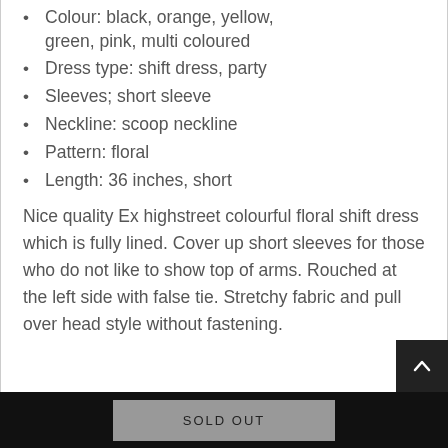Colour: black, orange, yellow, green, pink, multi coloured
Dress type: shift dress, party
Sleeves; short sleeve
Neckline: scoop neckline
Pattern: floral
Length: 36 inches, short
Nice quality Ex highstreet colourful floral shift dress which is fully lined. Cover up short sleeves for those who do not like to show top of arms. Rouched at the left side with false tie. Stretchy fabric and pull over head style without fastening.
SOLD OUT